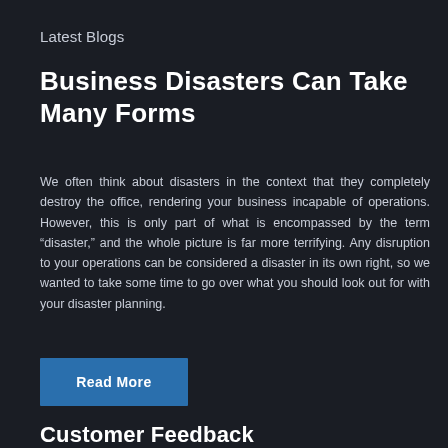Latest Blogs
Business Disasters Can Take Many Forms
We often think about disasters in the context that they completely destroy the office, rendering your business incapable of operations. However, this is only part of what is encompassed by the term “disaster,” and the whole picture is far more terrifying. Any disruption to your operations can be considered a disaster in its own right, so we wanted to take some time to go over what you should look out for with your disaster planning.
Read More
Customer Feedback